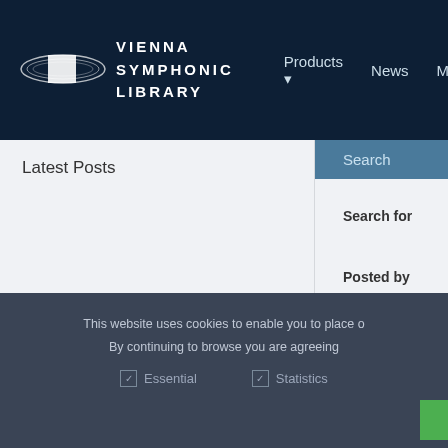[Figure (logo): Vienna Symphonic Library logo with Saturn-like planet graphic and text VIENNA SYMPHONIC LIBRARY]
Products ▾  News  Music
Latest Posts
Search
Search for
Posted by  tek0010
Forum  All Forums
This website uses cookies to enable you to place o
By continuing to browse you are agreeing
☑ Essential   ☑ Statistics